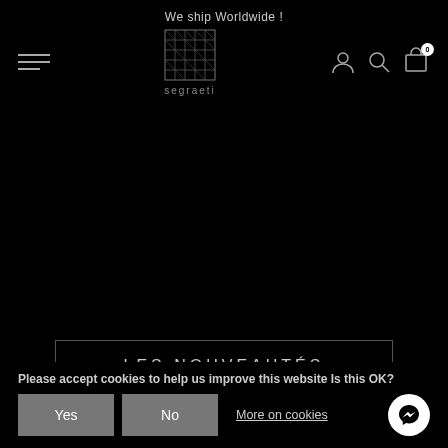We ship Worldwide !
[Figure (logo): Segraeti brand logo — geometric square pattern above the word 'segraeti' in grey]
LES NOUVEAUTÉS
Please accept cookies to help us improve this website Is this OK?
Yes
No
More on cookies